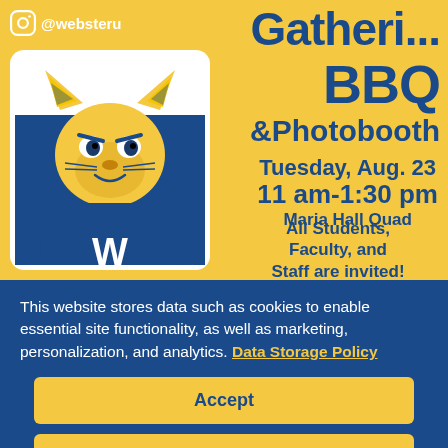[Figure (infographic): Event flyer for a Gathering BBQ & Photobooth event on a yellow background featuring the Webster University wildcat mascot inside a stylized phone/tablet frame. Shows Instagram handle @websteru. Event details: Tuesday, Aug. 23, 11 am-1:30 pm, Maria Hall Quad. All Students, Faculty, and Staff are invited!]
@websteru
Gathering BBQ &Photobooth
Tuesday, Aug. 23
11 am-1:30 pm
Maria Hall Quad
All Students, Faculty, and Staff are invited!
This website stores data such as cookies to enable essential site functionality, as well as marketing, personalization, and analytics. Data Storage Policy
Accept
Deny